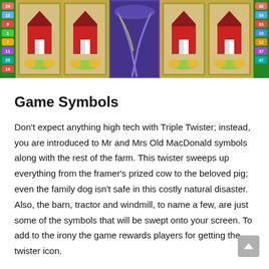[Figure (screenshot): Slot machine game screenshot showing farm-themed reels with barns and a twister, colored sidebars with numbered indicators on left and right]
Game Symbols
Don't expect anything high tech with Triple Twister; instead, you are introduced to Mr and Mrs Old MacDonald symbols along with the rest of the farm. This twister sweeps up everything from the framer's prized cow to the beloved pig; even the family dog isn't safe in this costly natural disaster. Also, the barn, tractor and windmill, to name a few, are just some of the symbols that will be swept onto your screen. To add to the irony the game rewards players for getting the twister icon.
The twister acts as the wild and substitutes all...